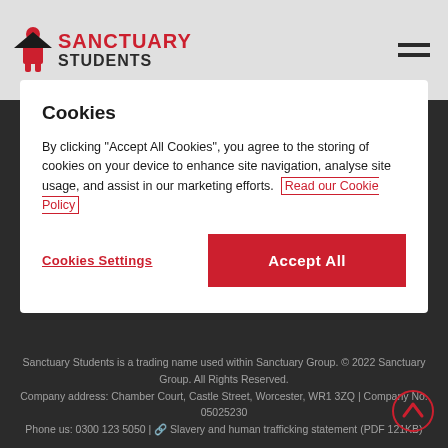Sanctuary Students
Cookies
By clicking "Accept All Cookies", you agree to the storing of cookies on your device to enhance site navigation, analyse site usage, and assist in our marketing efforts. Read our Cookie Policy
Cookies Settings | Accept All
Sanctuary Students is a trading name used within Sanctuary Group. © 2022 Sanctuary Group. All Rights Reserved. Company address: Chamber Court, Castle Street, Worcester, WR1 3ZQ | Company No. 05025230 Phone us: 0300 123 5050 | Slavery and human trafficking statement (PDF 121KB)